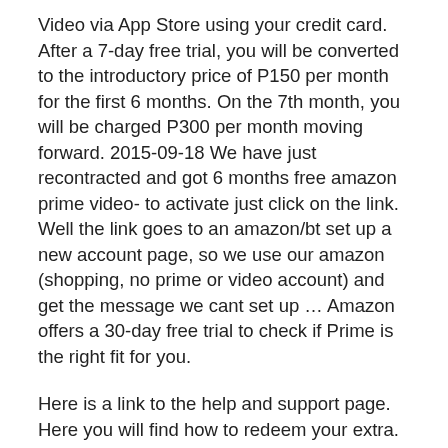Video via App Store using your credit card. After a 7-day free trial, you will be converted to the introductory price of P150 per month for the first 6 months. On the 7th month, you will be charged P300 per month moving forward. 2015-09-18 We have just recontracted and got 6 months free amazon prime video- to activate just click on the link. Well the link goes to an amazon/bt set up a new account page, so we use our amazon (shopping, no prime or video account) and get the message we cant set up … Amazon offers a 30-day free trial to check if Prime is the right fit for you.
Here is a link to the help and support page. Here you will find how to redeem your extra. https://www.o2.co.uk/help/account-and-billing/extras#choose a) Pay Monthly on O2 Refresh